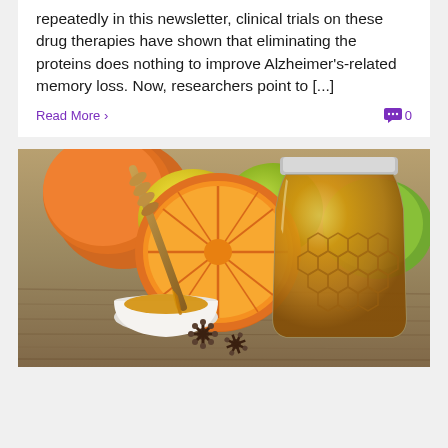repeatedly in this newsletter, clinical trials on these drug therapies have shown that eliminating the proteins does nothing to improve Alzheimer's-related memory loss. Now, researchers point to [...]
Read More ›
0
[Figure (photo): A jar of honey with honeycomb inside, a honey dipper dripping honey into a small white bowl, surrounded by citrus fruits (orange, lemon, lime) and star anise on a wooden surface.]